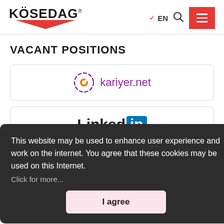KÖSEDAG logo and navigation with EN, search, menu
VACANT POSITIONS
[Figure (logo): kariyer.net logo - purple circle icon and text]
[Figure (logo): LinkedIn logo - black Linked and blue 'in' box]
[Figure (logo): Glassdoor logo (faded/blurred)]
[Figure (other): APPLICATION FORM button with red background]
This website may be used to enhance user experience and work on the internet. You agree that these cookies may be used on this Internet.
Click for more...
I agree